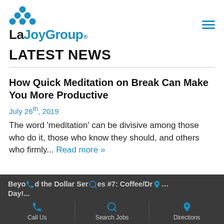LaJoy Group
LATEST NEWS
How Quick Meditation on Break Can Make You More Productive
July 26th, 2019
The word ‘meditation’ can be divisive among those who do it, those who know they should, and others who firmly... Read more »
Beyond the Dollar Series #7: Coffee/Dr... Day!... Call Us  Search Jobs  Directions